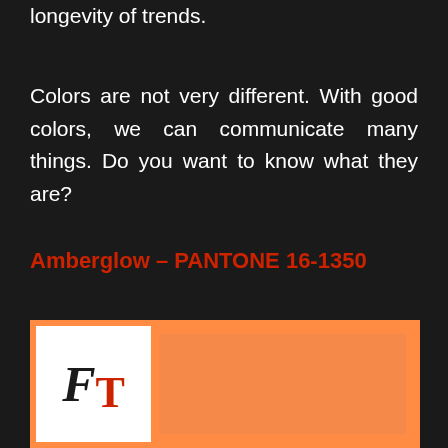longevity of trends.
Colors are not very different. With good colors, we can communicate many things. Do you want to know what they are?
Amberglow – PANTONE 16-1350
[Figure (illustration): Color card showing FT logo on white background on the left, and an orange color swatch (PANTONE 16-1350 Amberglow) on the right with orange border]